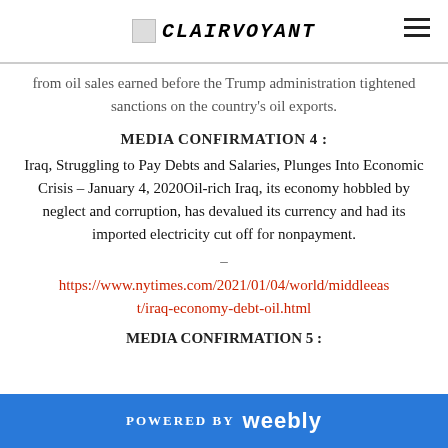CLAIRVOYANT (logo + hamburger menu)
from oil sales earned before the Trump administration tightened sanctions on the country's oil exports.
MEDIA CONFIRMATION 4 :
Iraq, Struggling to Pay Debts and Salaries, Plunges Into Economic Crisis – January 4, 2020Oil-rich Iraq, its economy hobbled by neglect and corruption, has devalued its currency and had its imported electricity cut off for nonpayment.
–
https://www.nytimes.com/2021/01/04/world/middleeast/iraq-economy-debt-oil.html
MEDIA CONFIRMATION 5 :
POWERED BY weebly